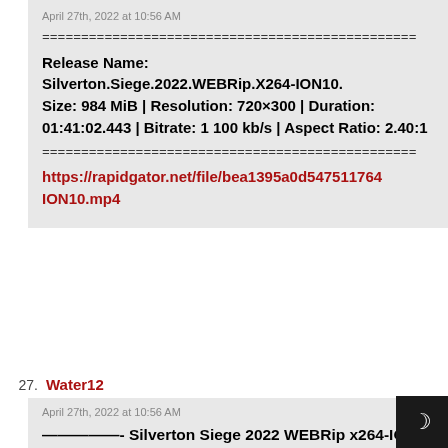April 27th, 2022 at 10:56 AM
================================================
Release Name:
Silverton.Siege.2022.WEBRip.X264-ION10.
Size: 984 MiB | Resolution: 720×300 | Duration: 01:41:02.443 | Bitrate: 1 100 kb/s | Aspect Ratio: 2.40:1
================================================
https://rapidgator.net/file/bea1395a0d547511764ION10.mp4
27.  Water12
April 27th, 2022 at 10:56 AM
——————- Silverton Siege 2022 WEBRip x264-ION10 ——————-